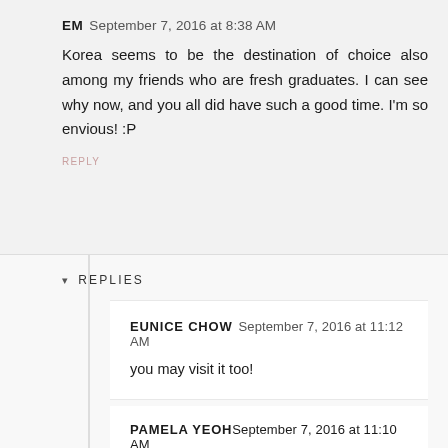EM  September 7, 2016 at 8:38 AM
Korea seems to be the destination of choice also among my friends who are fresh graduates. I can see why now, and you all did have such a good time. I’m so envious!  :P
REPLY
REPLIES
EUNICE CHOW  September 7, 2016 at 11:12 AM
you may visit it too!
PAMELA YEOH  September 7, 2016 at 11:10 AM